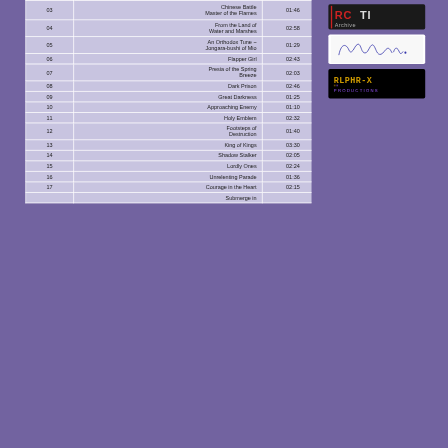| # | Title | Duration |
| --- | --- | --- |
| 03 | Chinese Battle Master of the Flames | 01:46 |
| 04 | From the Land of Water and Marshes | 02:58 |
| 05 | An Orthodox Tune ~ Jongara-bushi of Mio | 01:29 |
| 06 | Flapper Girl | 02:43 |
| 07 | Presia of the Spring Breeze | 02:03 |
| 08 | Dark Prison | 02:46 |
| 09 | Great Darkness | 01:25 |
| 10 | Approaching Enemy | 01:10 |
| 11 | Holy Emblem | 02:32 |
| 12 | Footsteps of Destruction | 01:40 |
| 13 | King of Kings | 03:30 |
| 14 | Shadow Stalker | 02:05 |
| 15 | Lordly Ones | 02:24 |
| 16 | Unrelenting Parade | 01:36 |
| 17 | Courage in the Heart | 02:15 |
|  | Submerge in |  |
[Figure (logo): RCTI Archive logo - red and white text on dark background]
[Figure (illustration): Handwritten signature reading Nakuraba]
[Figure (logo): Alpha-X Productions logo - pixelated purple and yellow text on black background]